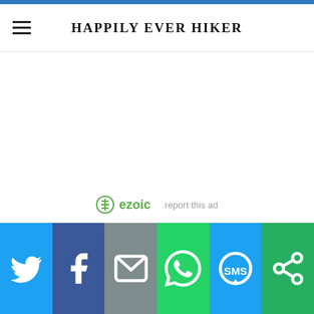HAPPILY EVER HIKER
[Figure (other): Empty white content area, likely an advertisement placeholder]
ezoic  report this ad
[Figure (infographic): Social media share bar with Twitter, Facebook, Email, WhatsApp, SMS, and other share buttons]